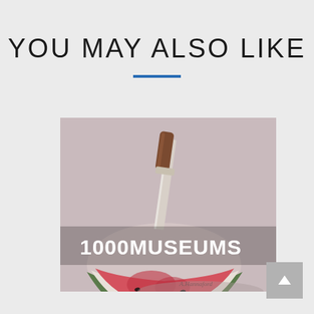YOU MAY ALSO LIKE
[Figure (illustration): Painting of a watermelon slice with a knife inserted into it, on a light pink/grey background. The image has a '1000MUSEUMS' text overlay in white bold letters across the lower portion of the image.]